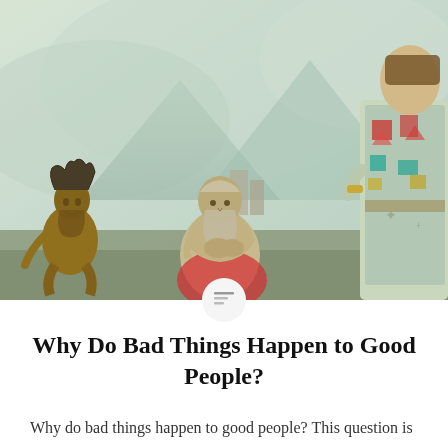[Figure (illustration): A classical painting depicting three figures in an ancient or biblical setting. On the left, a thin elderly man with wild hair crouches low. In the center, a hunched old man with a grey beard sits in a contemplative pose. On the right, a figure in colorful robes with geometric patterns stands. The background shows a misty, pale green and blue landscape with ruins.]
Why Do Bad Things Happen to Good People?
Why do bad things happen to good people? This question is commonly asked in response to some tragic event that, in